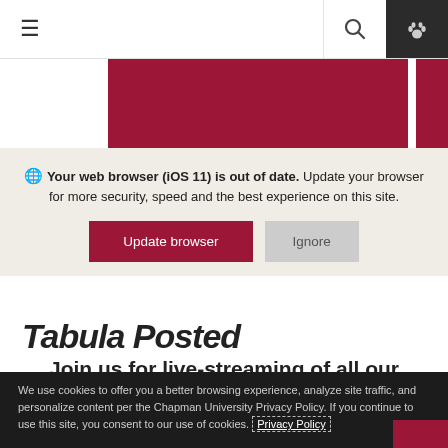Navigation bar with hamburger menu, search icon, and paw icon
[Figure (photo): Two dark red/maroon rectangular image blocks visible behind the browser update overlay]
🌐 Your web browser (iOS 11) is out of date. Update your browser for more security, speed and the best experience on this site.
Update browser | Ignore
Tabula Posted
Join us for live-streaming of all our events for Fall 2020 on the Tabula
We use cookies to offer you a better browsing experience, analyze site traffic, and personalize content per the Chapman University Privacy Policy. If you continue to use this site, you consent to our use of cookies. Privacy Policy